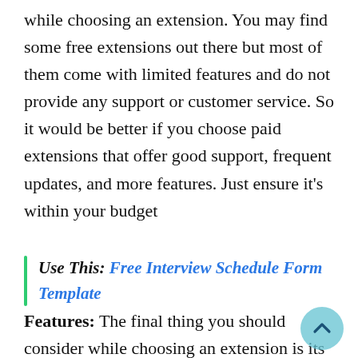while choosing an extension. You may find some free extensions out there but most of them come with limited features and do not provide any support or customer service. So it would be better if you choose paid extensions that offer good support, frequent updates, and more features. Just ensure it's within your budget
Use This: Free Interview Schedule Form Template
Features: The final thing you should consider while choosing an extension is its features list. This is because it helps you get more things done quickly